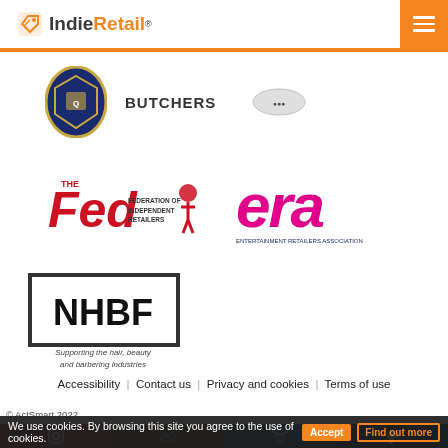Indie Retail
[Figure (logo): Shield/crest logo and BUTCHERS text, plus a small oval logo]
[Figure (logo): The Fed - Federation of Independent Retailers logo with red typography and figure icon]
[Figure (logo): ERA - Entertainment Retailers Association logo in pink and navy]
[Figure (logo): NHBF logo with tagline Supporting the hair, beauty and barbering industries]
Accessibility | Contact us | Privacy and cookies | Terms of use
© ActSmart 2022
We use cookies. By browsing this site you agree to the use of cookies.